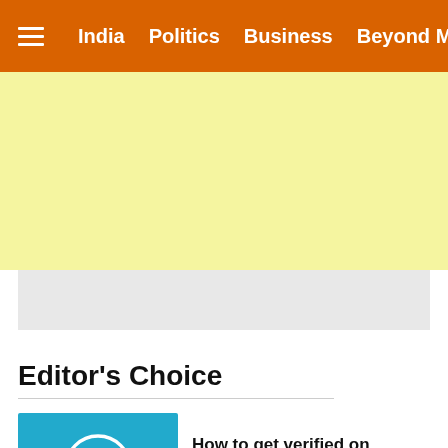India   Politics   Business   Beyond Metros
[Figure (other): Yellow advertisement banner placeholder area]
Editor's Choice
How to get verified on Twitter: Step by step guide to get 'Blue Tick'